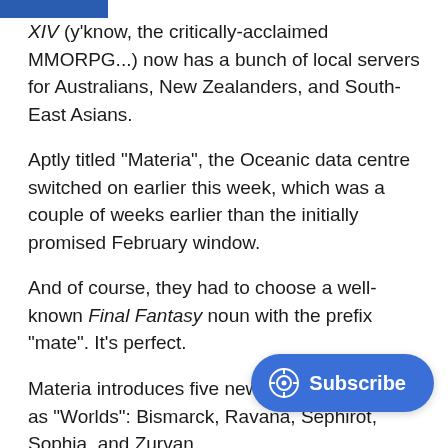XIV (y'know, the critically-acclaimed MMORPG...) now has a bunch of local servers for Australians, New Zealanders, and South-East Asians.
Aptly titled "Materia", the Oceanic data centre switched on earlier this week, which was a couple of weeks earlier than the initially promised February window.
And of course, they had to choose a well-known Final Fantasy noun with the prefix "mate". It's perfect.
Materia introduces five new servers referred to as "Worlds": Bismarck, Ravana, Sephirot, Sophia, and Zurvan.
For anyone who wants to swap Worlds, transferring to any of the Oceanic Worlds is free of charge, and comes with several bonuses, which is great f... previously logging into overseas serve...
To help smooth the transition over, EXP is doubled up to
[Figure (other): Subscribe button overlay with circular icon]